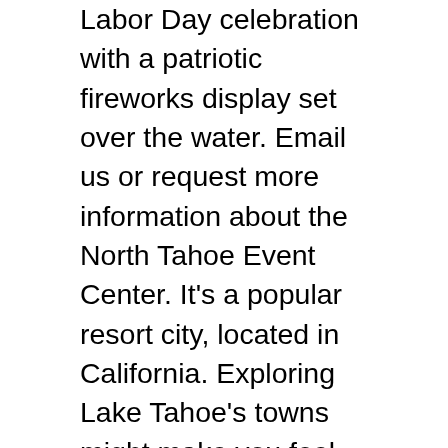Labor Day celebration with a patriotic fireworks display set over the water. Email us or request more information about the North Tahoe Event Center. It's a popular resort city, located in California. Exploring Lake Tahoe's towns might make you feel like you're swaggering through a modernized downtown from the Old West or freeing yourself of life's unnecessary pressures by embracing the chill West Coast vibe that permeates the region. South Lake Tahoe also to decide At South Lake Tahoe, Carol Chaplin, president and CEO of the Lake Tahoe Visitors Authority, said a decision on a fireworks show there will be made around May 15. The July 4th fireworks show is one of the most popular in the West and the event has received national media exposure in USA Today, Travel & Leisure and ForbesTraveler.com as one of the nation's top Fourth of July festivities around the country. This event has been canceled for 2020. Both the North and South shores will have some really cool shows that will have you glued to the sky for an hour. They were already canceled in Incline Village, Kings Beach and Truckee on the North Shore and on Wednesday afternoon the Tahoe Douglas Visitors Authority unanimously voted to skip the fireworks display in South Lake Tahoe due to the coronavirus threat with large gatherings, and that is one of the largest on the lake. South Lake Tahoe has also